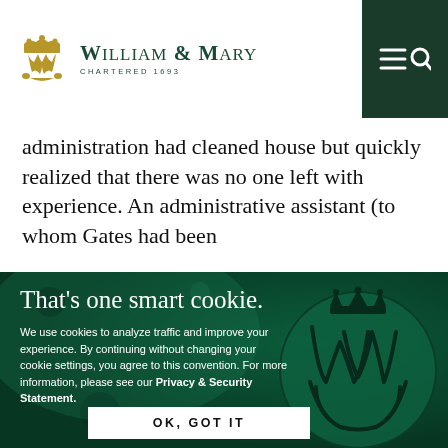William & Mary — CHARTERED 1693 navigation header with menu and search icons
administration had cleaned house but quickly realized that there was no one left with experience. An administrative assistant (to whom Gates had been
[Figure (screenshot): Cookie consent banner overlay on William & Mary website with dark green textured background featuring the W&M royal cypher seal. Title: That's one smart cookie. Body text about cookie policy. OK, GOT IT button.]
That's one smart cookie.
We use cookies to analyze traffic and improve your experience. By continuing without changing your cookie settings, you agree to this convention. For more information, please see our Privacy & Security Statement.
OK, GOT IT